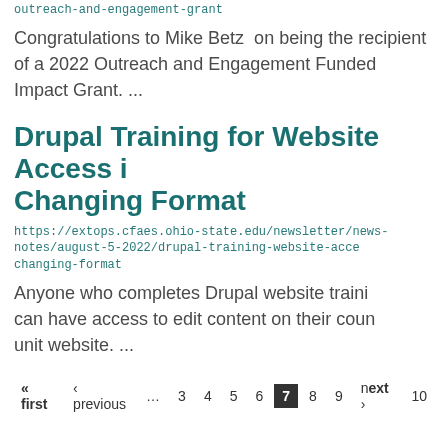outreach-and-engagement-grant
Congratulations to Mike Betz  on being the recipient of a 2022 Outreach and Engagement Funded Impact Grant. ...
Drupal Training for Website Access i Changing Format
https://extops.cfaes.ohio-state.edu/newsletter/news-notes/august-5-2022/drupal-training-website-acce changing-format
Anyone who completes Drupal website traini can have access to edit content on their coun unit website. ...
« first  ‹ previous  …  3  4  5  6  7  8  9  next ›  10